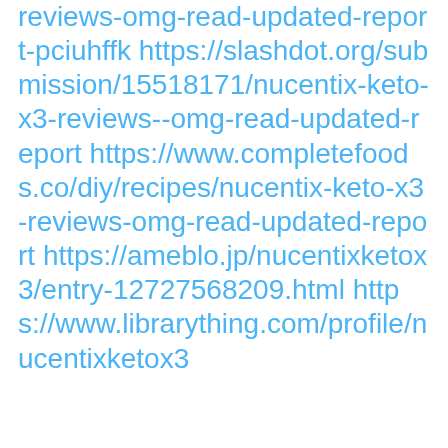reviews-omg-read-updated-report-pciuhffk https://slashdot.org/submission/15518171/nucentix-keto-x3-reviews--omg-read-updated-report https://www.completefoods.co/diy/recipes/nucentix-keto-x3-reviews-omg-read-updated-report https://ameblo.jp/nucentixketox3/entry-12727568209.html https://www.librarything.com/profile/nucentixketox3